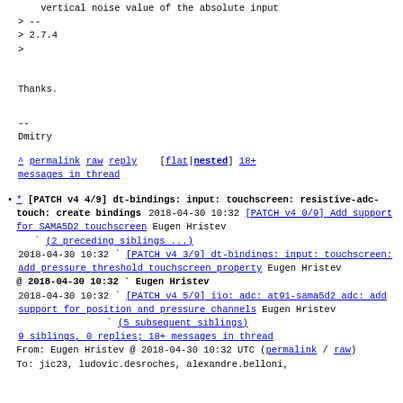vertical noise value of the absolute input
> --
> 2.7.4
>
Thanks.
--
Dmitry
^ permalink raw reply    [flat|nested] 18+ messages in thread
* [PATCH v4 4/9] dt-bindings: input: touchscreen: resistive-adc-touch: create bindings
2018-04-30 10:32 [PATCH v4 0/9] Add support for SAMA5D2 touchscreen Eugen Hristev
  ` (2 preceding siblings ...)
  2018-04-30 10:32 ` [PATCH v4 3/9] dt-bindings: input: touchscreen: add pressure threshold touchscreen property Eugen Hristev
@ 2018-04-30 10:32 ` Eugen Hristev
  2018-04-30 10:32 ` [PATCH v4 5/9] iio: adc: at91-sama5d2 adc: add support for position and pressure channels Eugen Hristev
              ` (5 subsequent siblings)
  9 siblings, 0 replies; 18+ messages in thread
From: Eugen Hristev @ 2018-04-30 10:32 UTC (permalink / raw)
To: jic23, ludovic.desroches, alexandre.belloni,